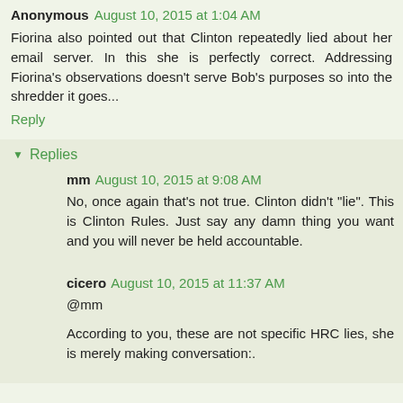Anonymous August 10, 2015 at 1:04 AM
Fiorina also pointed out that Clinton repeatedly lied about her email server. In this she is perfectly correct. Addressing Fiorina's observations doesn't serve Bob's purposes so into the shredder it goes...
Reply
Replies
mm August 10, 2015 at 9:08 AM
No, once again that's not true. Clinton didn't "lie". This is Clinton Rules. Just say any damn thing you want and you will never be held accountable.
cicero August 10, 2015 at 11:37 AM
@mm
According to you, these are not specific HRC lies, she is merely making conversation:.